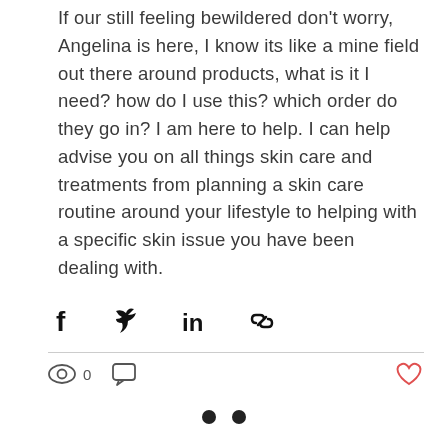If our still feeling bewildered don't worry, Angelina is here, I know its like a mine field out there around products, what is it I need? how do I use this? which order do they go in? I am here to help. I can help advise you on all things skin care and treatments from planning a skin care routine around your lifestyle to helping with a specific skin issue you have been dealing with.
[Figure (infographic): Social share icons row: Facebook, Twitter, LinkedIn, Link icons]
[Figure (infographic): Engagement bar with eye/views icon showing 0, comment icon, and heart/like icon on the right]
[Figure (infographic): Pagination dots: two filled black circles]